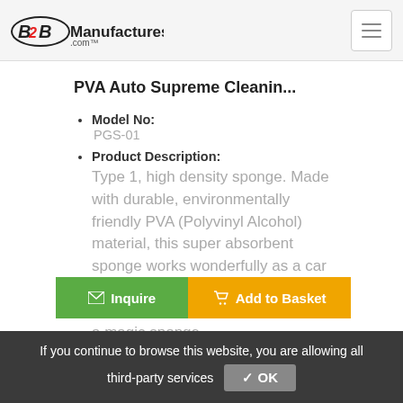B2BManufactures.com
PVA Auto Supreme Cleanin...
Model No:
PGS-01
Product Description:
Type 1, high density sponge. Made with durable, environmentally friendly PVA (Polyvinyl Alcohol) material, this super absorbent sponge works wonderfully as a car wash sponge. Doubling its function, it soaks up the remaining water like a magic sponge...
Inquire   Add to Basket
If you continue to browse this website, you are allowing all third-party services ✓ OK